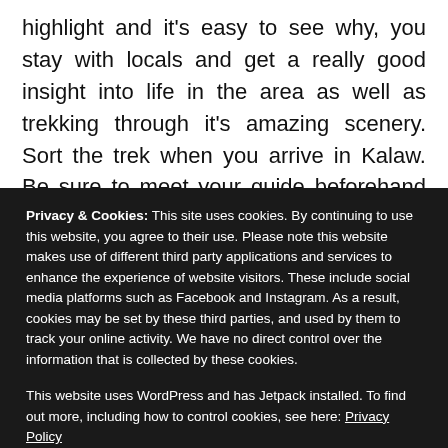highlight and it's easy to see why, you stay with locals and get a really good insight into life in the area as well as trekking through it's amazing scenery. Sort the trek when you arrive in Kalaw. Be sure to meet your guide beforehand and check other options if you're not keen on them. There are usually groups going so you can join one if you don't want to go alone. Better to check this.
Privacy & Cookies: This site uses cookies. By continuing to use this website, you agree to their use. Please note this website makes use of different third party applications and services to enhance the experience of website visitors. These include social media platforms such as Facebook and Instagram. As a result, cookies may be set by these third parties, and used by them to track your online activity. We have no direct control over the information that is collected by these cookies.

This website uses WordPress and has Jetpack installed. To find out more, including how to control cookies, see here: Privacy Policy
Close and accept
visited by many backpackers, you can take a guide to see